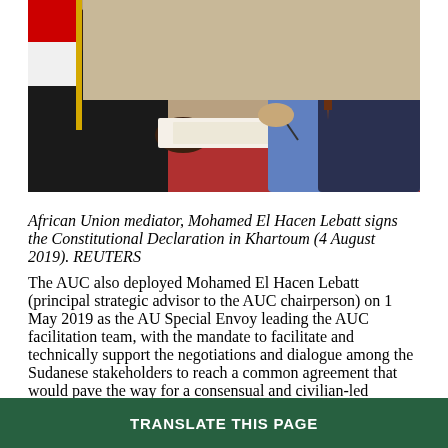[Figure (photo): Two men at a table signing documents. One man is in a dark suit, the other is in a light blue shirt and tie. A Sudanese flag is visible in the background.]
African Union mediator, Mohamed El Hacen Lebatt signs the Constitutional Declaration in Khartoum (4 August 2019). REUTERS
The AUC also deployed Mohamed El Hacen Lebatt (principal strategic advisor to the AUC chairperson) on 1 May 2019 as the AU Special Envoy leading the AUC facilitation team, with the mandate to facilitate and technically support the negotiations and dialogue among the Sudanese stakeholders to reach a common agreement that would pave the way for a consensual and civilian-led transition.²⁴ Other than facilitating negotiations, the AU Special Envoy assisted in exerting pressure on the par... periods of sporadic...